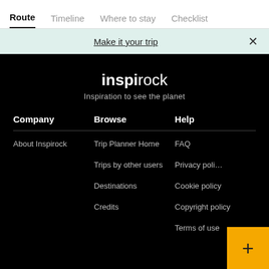Route | Timeline | Where to stay | Checklist
Make it your trip
inspirock
Inspiration to see the planet
Company
Browse
Help
About Inspirock
Trip Planner Home
FAQ
Trips by other users
Privacy policy
Destinations
Cookie policy
Credits
Copyright policy
Terms of use